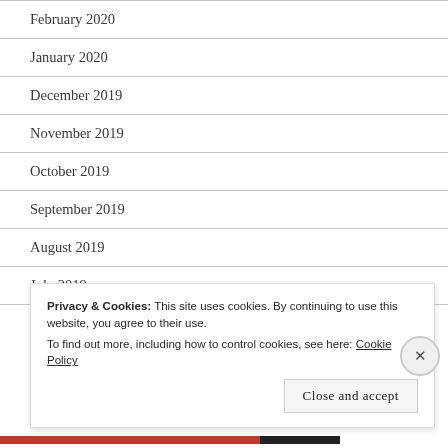February 2020
January 2020
December 2019
November 2019
October 2019
September 2019
August 2019
July 2019
Privacy & Cookies: This site uses cookies. By continuing to use this website, you agree to their use.
To find out more, including how to control cookies, see here: Cookie Policy